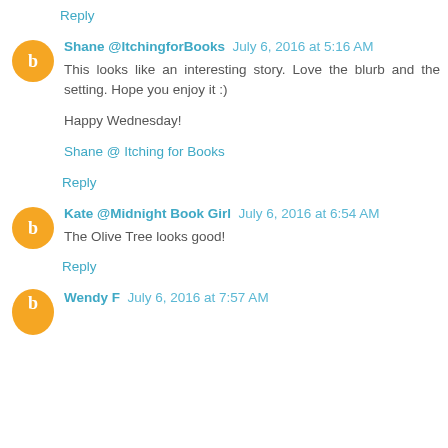Reply
Shane @ItchingforBooks July 6, 2016 at 5:16 AM
This looks like an interesting story. Love the blurb and the setting. Hope you enjoy it :)

Happy Wednesday!

Shane @ Itching for Books
Reply
Kate @Midnight Book Girl July 6, 2016 at 6:54 AM
The Olive Tree looks good!
Reply
Wendy F July 6, 2016 at 7:57 AM